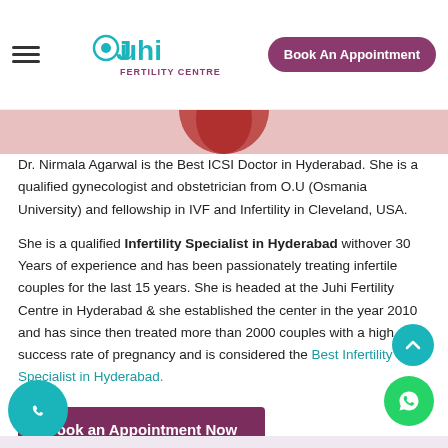Juhi Fertility Centre – Book An Appointment
[Figure (photo): Partial photo of Dr. Nirmala Agarwal in red attire, shown as a circular cropped image at top of content]
Dr. Nirmala Agarwal is the Best ICSI Doctor in Hyderabad. She is a qualified gynecologist and obstetrician from O.U (Osmania University) and fellowship in IVF and Infertility in Cleveland, USA.
She is a qualified Infertility Specialist in Hyderabad withover 30 Years of experience and has been passionately treating infertile couples for the last 15 years. She is headed at the Juhi Fertility Centre in Hyderabad & she established the center in the year 2010 and has since then treated more than 2000 couples with a high success rate of pregnancy and is considered the Best Infertility Specialist in Hyderabad.
Book an Appointment Now